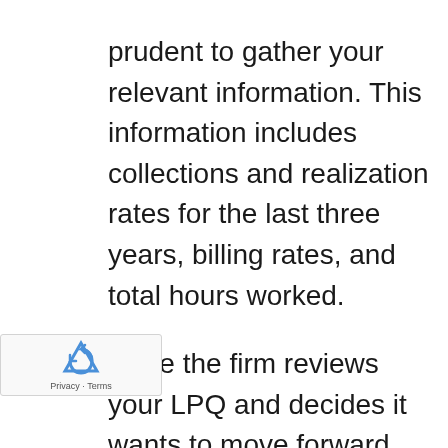prudent to gather your relevant information. This information includes collections and realization rates for the last three years, billing rates, and total hours worked.
Once the firm reviews your LPQ and decides it wants to move forward, there will likely be a meeting with the firm's governing body. When considering a satellite office, you probably be asked to attend this meeting at the firm's main office. This may require travel on your part. Again, promptly scheduling this meeting will keep the process moving